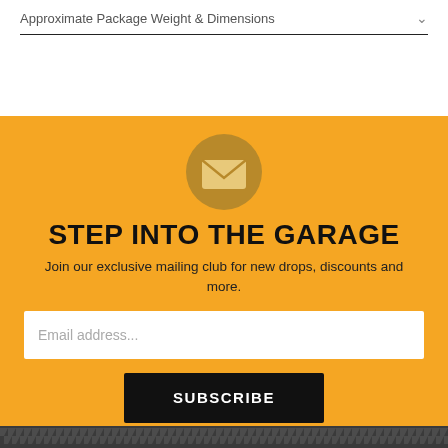Approximate Package Weight & Dimensions
[Figure (illustration): Orange circle with white envelope/mail icon]
STEP INTO THE GARAGE
Join our exclusive mailing club for new drops, discounts and more.
Email address...
SUBSCRIBE
[Figure (illustration): Tire tread pattern footer strip]